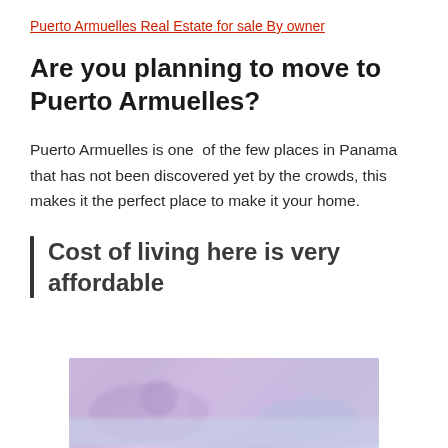Puerto Armuelles Real Estate for sale By owner
Are you planning to move to Puerto Armuelles?
Puerto Armuelles is one of the few places in Panama that has not been discovered yet by the crowds, this makes it the perfect place to make it your home.
Cost of living here is very affordable
[Figure (photo): Blurred image of currency/money, partially visible at the bottom of the page]